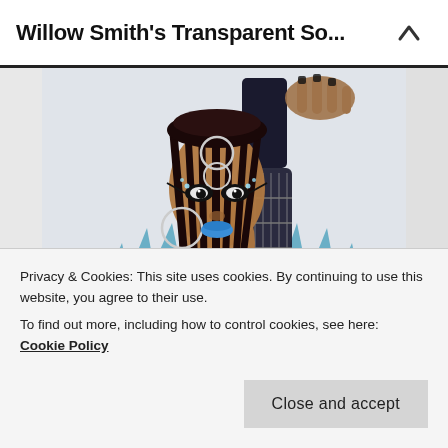Willow Smith's Transparent So...
[Figure (photo): Willow Smith wearing a blue feathered/spiky outfit holding a decorated guitar, with braided hair with hoop accessories and blue lipstick, intense makeup, white background]
Privacy & Cookies: This site uses cookies. By continuing to use this website, you agree to their use.
To find out more, including how to control cookies, see here:
Cookie Policy
Close and accept